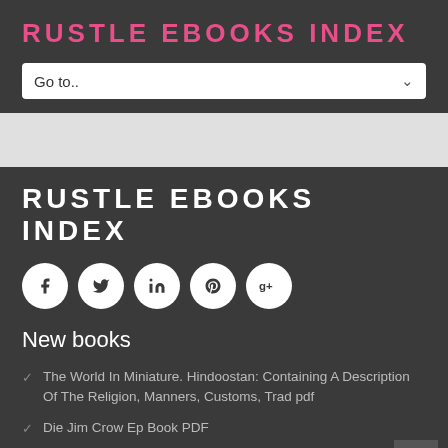RUSTLE EBOOKS INDEX
Go to..
RUSTLE EBOOKS INDEX
[Figure (other): Social media icons: Facebook, Twitter, LinkedIn, Pinterest, Google+]
New books
The World In Miniature. Hindoostan: Containing A Description Of The Religion, Manners, Customs, Trad pdf
Die Jim Crow Ep Book PDF
Life In The Blood (The Vital Series) ebook